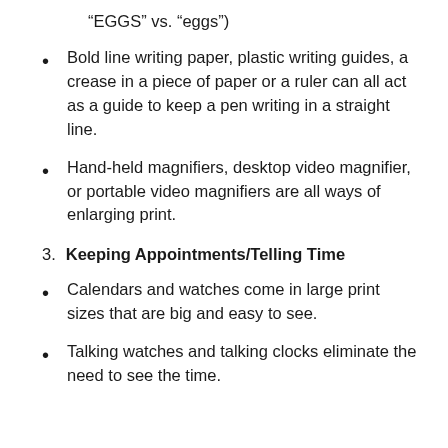“EGGS” vs. “eggs”)
Bold line writing paper, plastic writing guides, a crease in a piece of paper or a ruler can all act as a guide to keep a pen writing in a straight line.
Hand-held magnifiers, desktop video magnifier, or portable video magnifiers are all ways of enlarging print.
3. Keeping Appointments/Telling Time
Calendars and watches come in large print sizes that are big and easy to see.
Talking watches and talking clocks eliminate the need to see the time.